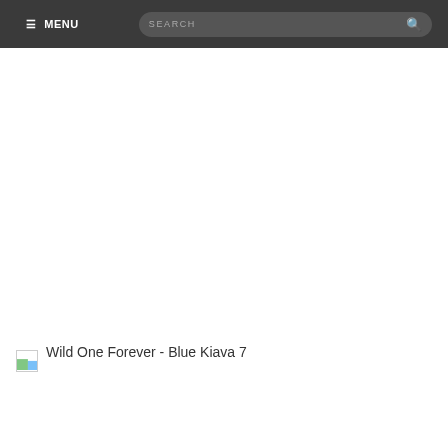☰ MENU   SEARCH
[Figure (illustration): Broken/missing image thumbnail placeholder with a small green and blue corner graphic]
Wild One Forever - Blue Kiava 7